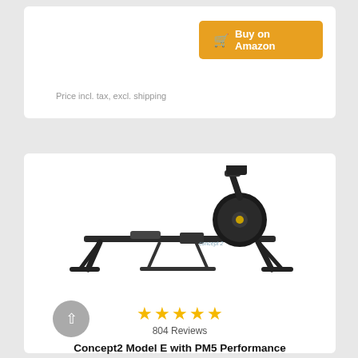Buy on Amazon
Price incl. tax, excl. shipping
[Figure (photo): Concept2 Model E rowing machine with PM5 performance monitor, shown in black on white background]
804 Reviews
Concept2 Model E with PM5 Performance